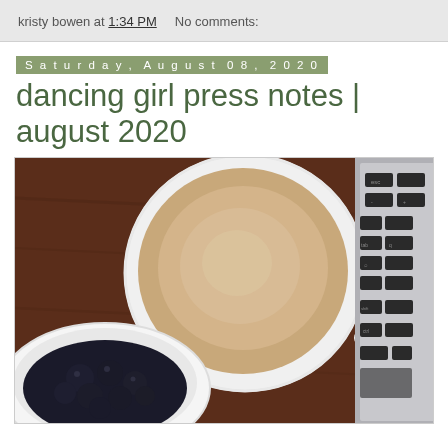kristy bowen at 1:34 PM   No comments:
Saturday, August 08, 2020
dancing girl press notes | august 2020
[Figure (photo): Overhead view of a white mug filled with light coffee/latte on a dark wooden table, with a white bowl of dark berries (blueberries) in the lower left and a laptop keyboard visible on the right side.]